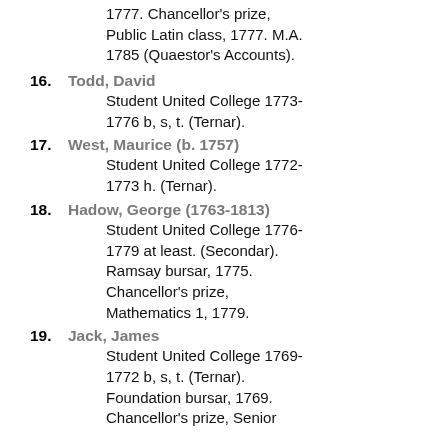1777. Chancellor's prize, Public Latin class, 1777. M.A. 1785 (Quaestor's Accounts).
16. Todd, David — Student United College 1773-1776 b, s, t. (Ternar).
17. West, Maurice (b. 1757) — Student United College 1772-1773 h. (Ternar).
18. Hadow, George (1763-1813) — Student United College 1776-1779 at least. (Secondar). Ramsay bursar, 1775. Chancellor's prize, Mathematics 1, 1779.
19. Jack, James — Student United College 1769-1772 b, s, t. (Ternar). Foundation bursar, 1769. Chancellor's prize, Senior...